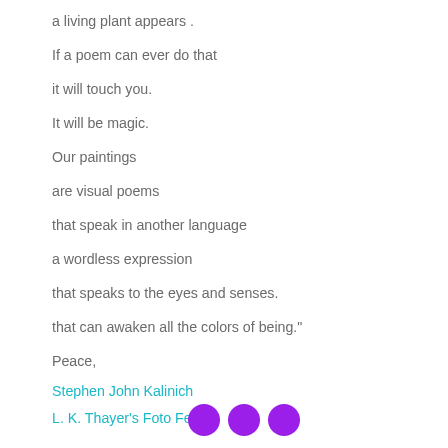a living plant appears .
If a poem can ever do that
it will touch you.
It will be magic.
Our paintings
are visual poems
that speak in another language
a wordless expression
that speaks to the eyes and senses.
that can awaken all the colors of being."
Peace,
Stephen John Kalinich
L. K. Thayer's Foto Fetish
© 2010
[Figure (illustration): Three purple circles arranged horizontally at the bottom center of the page]